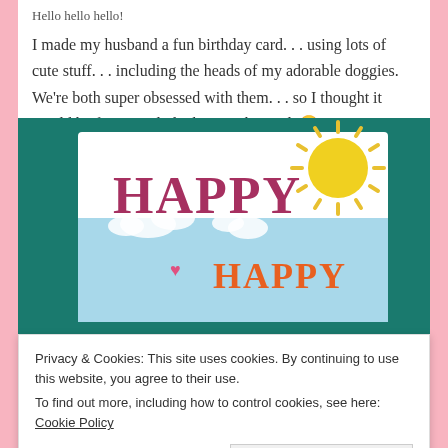Hello hello hello!
I made my husband a fun birthday card... using lots of cute stuff... including the heads of my adorable doggies. We're both super obsessed with them... so I thought it would be fun to include them in the card. 😂
[Figure (photo): A handmade birthday card showing the word HAPPY in pink letters with a yellow sun die-cut in the upper right corner, blue sky with clouds, a small pink heart, and HAPPY in orange letters below, set against a teal background.]
Privacy & Cookies: This site uses cookies. By continuing to use this website, you agree to their use.
To find out more, including how to control cookies, see here: Cookie Policy
Close and accept